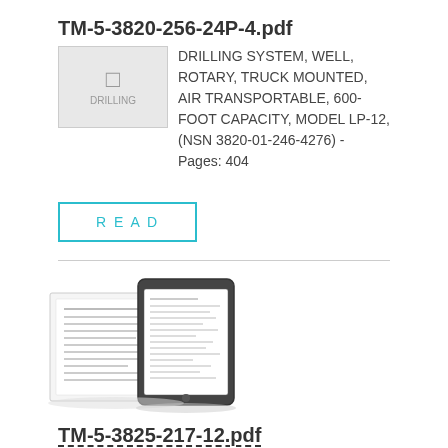TM-5-3820-256-24P-4.pdf
[Figure (thumbnail): Document thumbnail placeholder with DRILLING icon]
DRILLING SYSTEM, WELL, ROTARY, TRUCK MOUNTED, AIR TRANSPORTABLE, 600-FOOT CAPACITY, MODEL LP-12, (NSN 3820-01-246-4276) - Pages: 404
READ
[Figure (illustration): Book and tablet device showing document pages]
TM-5-3825-217-12.pdf
DISTRIBUTOR, WATER, COLLAPSIB 900 GALLON, GRAVITY FEED (US RUBBER MODEL CE-9C-2) (FSN 3825-54 - Pages: 36